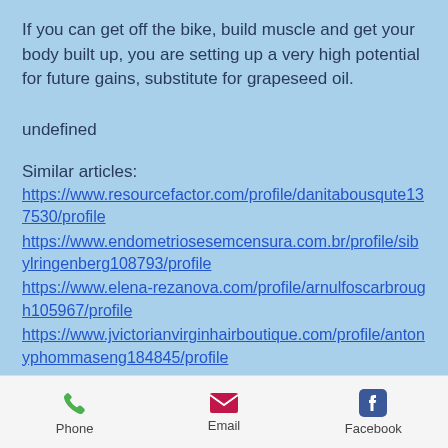If you can get off the bike, build muscle and get your body built up, you are setting up a very high potential for future gains, substitute for grapeseed oil.
undefined
Similar articles:
https://www.resourcefactor.com/profile/danitabousqute137530/profile
https://www.endometriosesemcensura.com.br/profile/sibylringenberg108793/profile
https://www.elena-rezanova.com/profile/arnulfoscarbrough105967/profile
https://www.jvictorianvirginhairboutique.com/profile/antonyphommaseng184845/profile
Phone  Email  Facebook